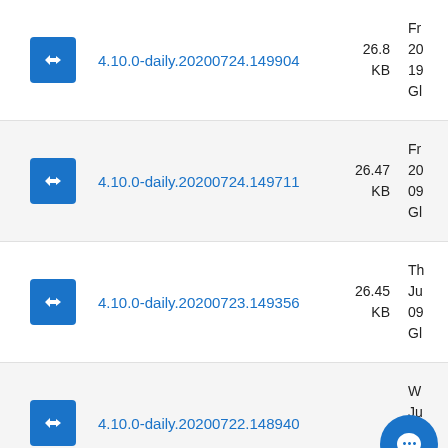4.10.0-daily.20200724.149904 26.8 KB Fr 20 19 Gl
4.10.0-daily.20200724.149711 26.47 KB Fr 20 09 Gl
4.10.0-daily.20200723.149356 26.45 KB Th Ju 09 Gl
4.10.0-daily.20200722.148940 W Ju 09 Gl